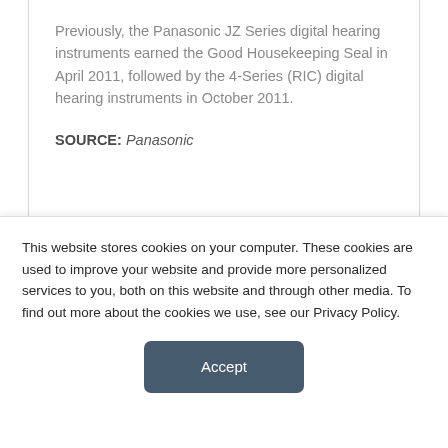Previously, the Panasonic JZ Series digital hearing instruments earned the Good Housekeeping Seal in April 2011, followed by the 4-Series (RIC) digital hearing instruments in October 2011.
SOURCE: Panasonic
SHARE:
This website stores cookies on your computer. These cookies are used to improve your website and provide more personalized services to you, both on this website and through other media. To find out more about the cookies we use, see our Privacy Policy.